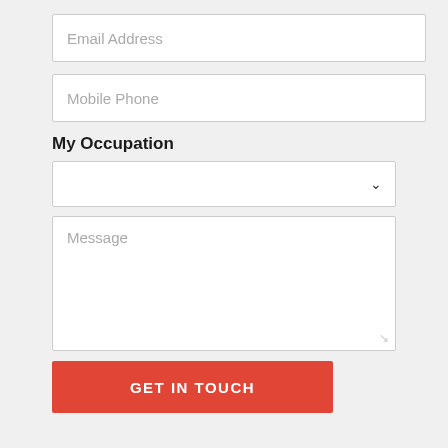Email Address
Mobile Phone
My Occupation
Message
GET IN TOUCH